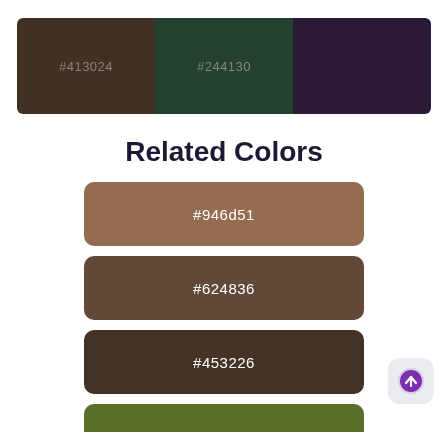[Figure (infographic): Color palette bar showing three swatches: #413024 (dark brown), #244130 (dark green), and a dark purple color]
Related Colors
[Figure (infographic): Color swatch card showing #946d51 (medium brown)]
[Figure (infographic): Color swatch card showing #624836 (dark warm brown)]
[Figure (infographic): Color swatch card showing #453226 (very dark brown)]
[Figure (infographic): Partial color swatch card at bottom showing olive/muted green]
[Figure (infographic): Scroll-to-top button with purple arrow icon]